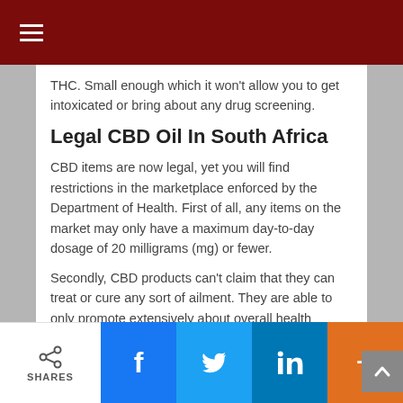THC. Small enough which it won't allow you to get intoxicated or bring about any drug screening.
Legal CBD Oil In South Africa
CBD items are now legal, yet you will find restrictions in the marketplace enforced by the Department of Health. First of all, any items on the market may only have a maximum day-to-day dosage of 20 milligrams (mg) or fewer.
Secondly, CBD products can't claim that they can treat or cure any sort of ailment. They are able to only promote extensively about overall health improvement or promise to alleviate minor conditions.
The CBD Oil market